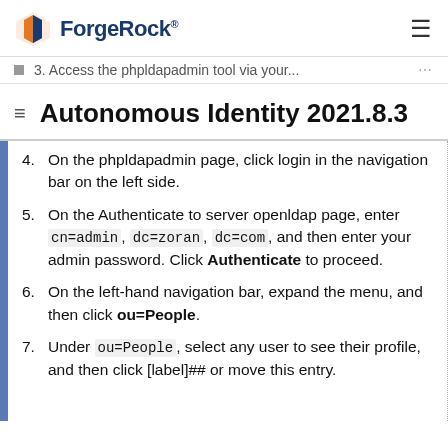ForgeRock
3. Access the phpldapadmin tool via your...
Autonomous Identity 2021.8.3
4. On the phpldapadmin page, click login in the navigation bar on the left side.
5. On the Authenticate to server openldap page, enter cn=admin,dc=zoran,dc=com, and then enter your admin password. Click Authenticate to proceed.
6. On the left-hand navigation bar, expand the menu, and then click ou=People.
7. Under ou=People, select any user to see their profile, and then click [label]## or move this entry.